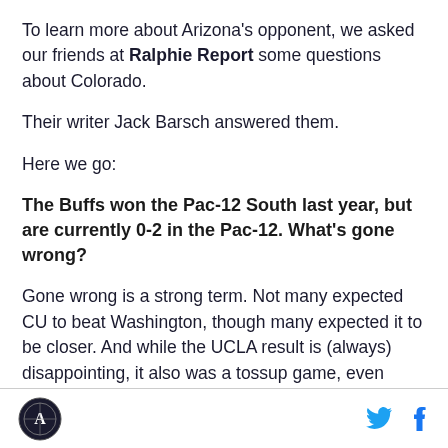To learn more about Arizona's opponent, we asked our friends at Ralphie Report some questions about Colorado.
Their writer Jack Barsch answered them.
Here we go:
The Buffs won the Pac-12 South last year, but are currently 0-2 in the Pac-12. What's gone wrong?
Gone wrong is a strong term. Not many expected CU to beat Washington, though many expected it to be closer. And while the UCLA result is (always) disappointing, it also was a tossup game, even before
Logo and social icons